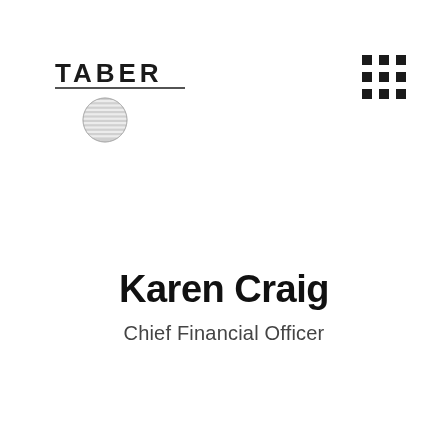[Figure (logo): TABER company logo with text 'TABER' in uppercase letters with an underline, and a horizontally-striped circle below]
[Figure (other): 3x3 grid of black square dots icon in top right corner]
Karen Craig
Chief Financial Officer